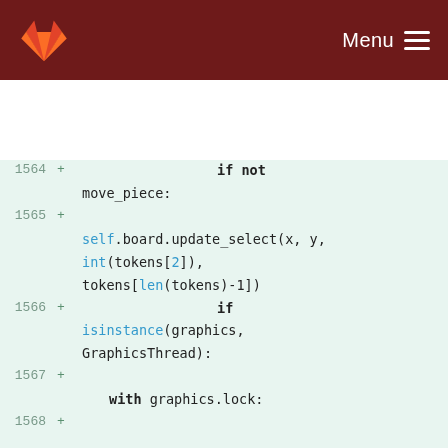GitLab — Menu
1564 + if not move_piece:
1565 +     self.board.update_select(x, y, int(tokens[2]), tokens[len(tokens)-1])
1566 +                                         if isinstance(graphics, GraphicsThread):
1567 +         with graphics.lock:
1568 +
             graphics.state["moves"] = self.board.possible_moves(target)
1569 +         time.sleep(turn_delay)
1570 +                                         else:
1571 +